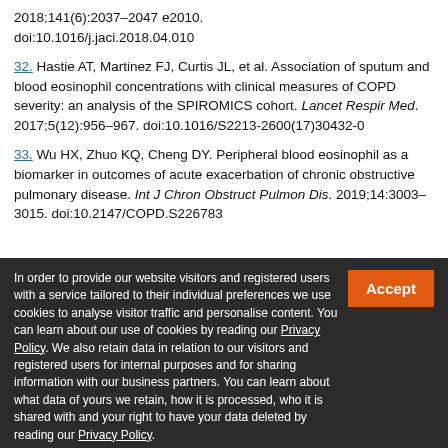2018;141(6):2037–2047 e2010. doi:10.1016/j.jaci.2018.04.010
32. Hastie AT, Martinez FJ, Curtis JL, et al. Association of sputum and blood eosinophil concentrations with clinical measures of COPD severity: an analysis of the SPIROMICS cohort. Lancet Respir Med. 2017;5(12):956–967. doi:10.1016/S2213-2600(17)30432-0
33. Wu HX, Zhuo KQ, Cheng DY. Peripheral blood eosinophil as a biomarker in outcomes of acute exacerbation of chronic obstructive pulmonary disease. Int J Chron Obstruct Pulmon Dis. 2019;14:3003–3015. doi:10.2147/COPD.S226783
In order to provide our website visitors and registered users with a service tailored to their individual preferences we use cookies to analyse visitor traffic and personalise content. You can learn about our use of cookies by reading our Privacy Policy. We also retain data in relation to our visitors and registered users for internal purposes and for sharing information with our business partners. You can learn about what data of yours we retain, how it is processed, who it is shared with and your right to have your data deleted by reading our Privacy Policy.
If you agree to our use of cookies and the contents of our Privacy Policy please click 'accept'.